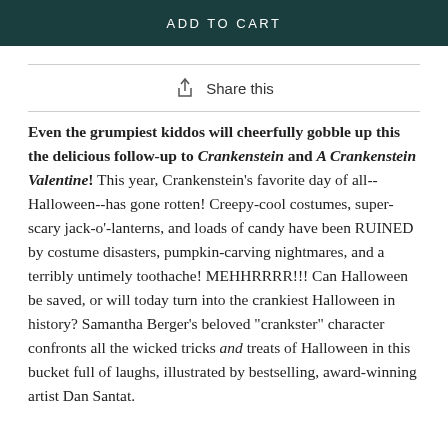ADD TO CART
Share this
Even the grumpiest kiddos will cheerfully gobble up this the delicious follow-up to Crankenstein and A Crankenstein Valentine! This year, Crankenstein's favorite day of all--Halloween--has gone rotten! Creepy-cool costumes, super-scary jack-o'-lanterns, and loads of candy have been RUINED by costume disasters, pumpkin-carving nightmares, and a terribly untimely toothache! MEHHRRRR!!! Can Halloween be saved, or will today turn into the crankiest Halloween in history? Samantha Berger's beloved "crankster" character confronts all the wicked tricks and treats of Halloween in this bucket full of laughs, illustrated by bestselling, award-winning artist Dan Santat.